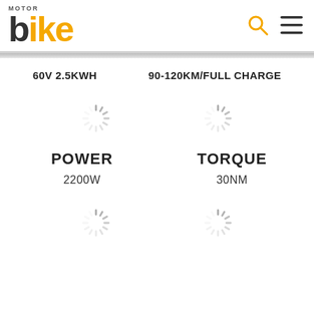[Figure (logo): Bike magazine logo with 'bike' text in dark grey and orange, and a small 'MOTOR' text above]
[Figure (other): Search icon (magnifying glass) in orange and hamburger menu icon in dark grey]
60V 2.5KWH
90-120KM/FULL CHARGE
[Figure (other): Loading spinner icon (grey)]
[Figure (other): Loading spinner icon (grey)]
POWER
2200W
TORQUE
30NM
[Figure (other): Loading spinner icon (grey), partially visible at bottom]
[Figure (other): Loading spinner icon (grey), partially visible at bottom]